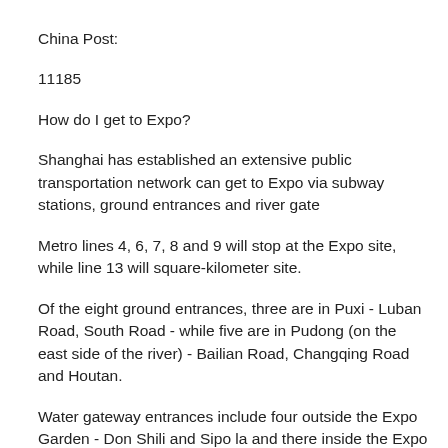China Post:
11185
How do I get to Expo?
Shanghai has established an extensive public transportation network can get to Expo via subway stations, ground entrances and river gate
Metro lines 4, 6, 7, 8 and 9 will stop at the Expo site, while line 13 will square-kilometer site.
Of the eight ground entrances, three are in Puxi - Luban Road, South Road - while five are in Pudong (on the east side of the river) - Bailian Road, Changqing Road and Houtan.
Water gateway entrances include four outside the Expo Garden - Don Shili and Sipo la and there inside the Expo